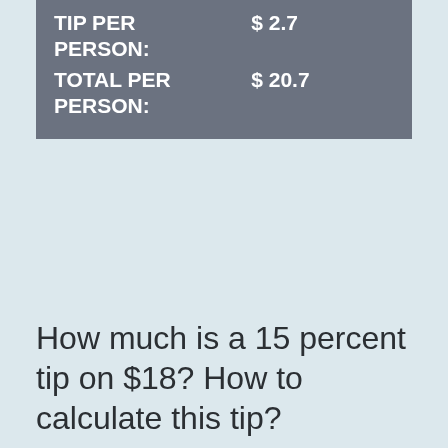| TIP PER PERSON: | $ 2.7 |
| TOTAL PER PERSON: | $ 20.7 |
How much is a 15 percent tip on $18? How to calculate this tip?